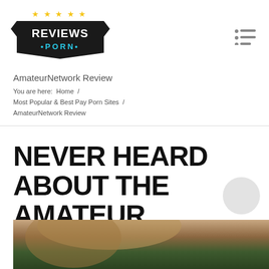[Figure (logo): Reviews Porn logo: black banner/ribbon shape with stars above, text REVIEWS on top and PORN in blue below, yellow stars]
AmateurNetwork Review
You are here:  Home  /  Most Popular & Best Pay Porn Sites  /  AmateurNetwork Review
NEVER HEARD ABOUT THE AMATEUR NETWORK?
[Figure (photo): Bottom portion of a photo showing a blonde person, cropped at bottom of page]